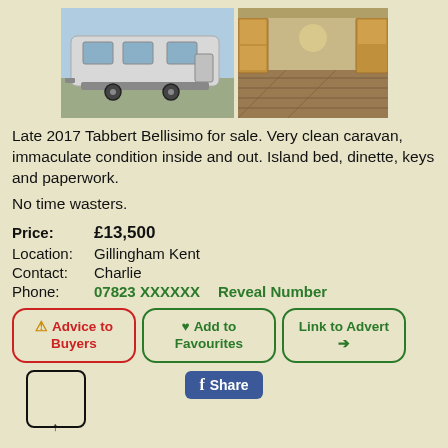[Figure (photo): Exterior photo of a white Tabbert Bellisimo caravan on the left, and interior photo showing wooden flooring and cabinetry on the right]
Late 2017 Tabbert Bellisimo for sale. Very clean caravan, immaculate condition inside and out. Island bed, dinette, keys and paperwork.
No time wasters.
Price: £13,500
Location: Gillingham Kent
Contact: Charlie
Phone: 07823 XXXXXX   Reveal Number
⚠ Advice to Buyers | ♥ Add to Favourites | Link to Advert ➔ | f Share